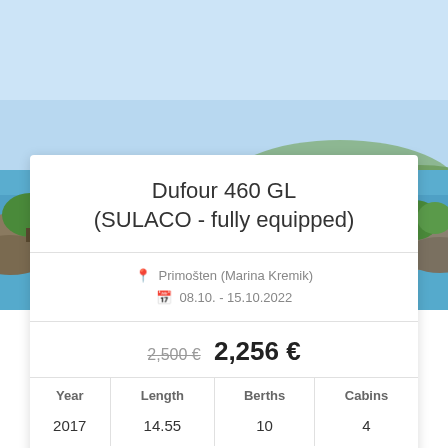[Figure (photo): Aerial/coastal Mediterranean scene with blue sea, green trees, and rocky shoreline under a clear sky.]
Dufour 460 GL (SULACO - fully equipped)
Primošten (Marina Kremik) 08.10. - 15.10.2022
2,500 € 2,256 €
| Year | Length | Berths | Cabins |
| --- | --- | --- | --- |
| 2017 | 14.55 | 10 | 4 |
Book Now